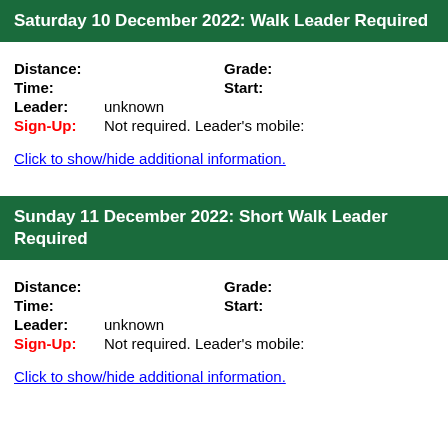Saturday 10 December 2022: Walk Leader Required
Distance:    Grade:
Time:    Start:
Leader:    unknown
Sign-Up:    Not required. Leader's mobile:
Click to show/hide additional information.
Sunday 11 December 2022: Short Walk Leader Required
Distance:    Grade:
Time:    Start:
Leader:    unknown
Sign-Up:    Not required. Leader's mobile:
Click to show/hide additional information.